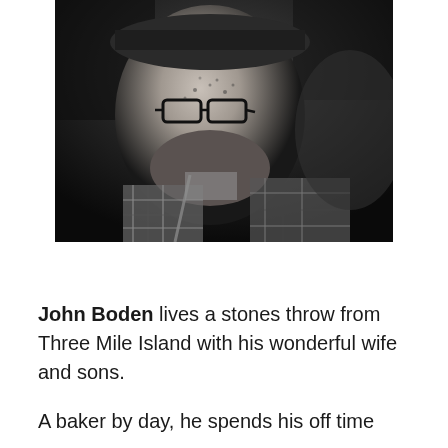[Figure (photo): Black and white portrait photo of a bearded man wearing glasses and a plaid shirt with suspenders, and a cap. The photo is close-up and slightly out of focus in the background.]
John Boden lives a stones throw from Three Mile Island with his wonderful wife and sons.
A baker by day, he spends his off time